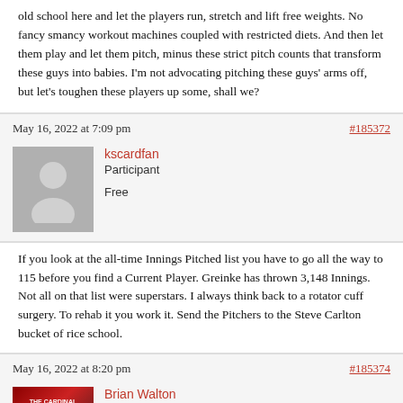old school here and let the players run, stretch and lift free weights. No fancy smancy workout machines coupled with restricted diets. And then let them play and let them pitch, minus these strict pitch counts that transform these guys into babies. I’m not advocating pitching these guys’ arms off, but let’s toughen these players up some, shall we?
May 16, 2022 at 7:09 pm
#185372
kscardfan
Participant
Free
If you look at the all-time Innings Pitched list you have to go all the way to 115 before you find a Current Player. Greinke has thrown 3,148 Innings. Not all on that list were superstars. I always think back to a rotator cuff surgery. To rehab it you work it. Send the Pitchers to the Steve Carlton bucket of rice school.
May 16, 2022 at 8:20 pm
#185374
Brian Walton
Keymaster
[Figure (photo): Avatar/profile image for Brian Walton showing The Cardinal Nation 2022 Prospect Guide cover]